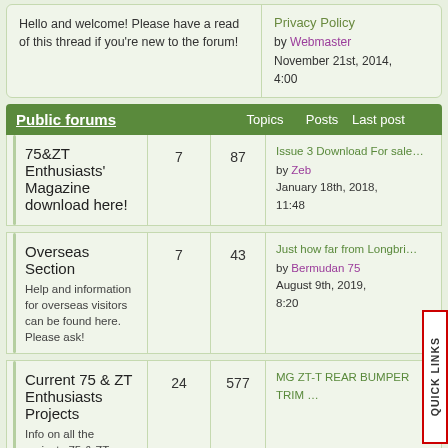Hello and welcome! Please have a read of this thread if you're new to the forum!
Privacy Policy
by Webmaster
November 21st, 2014, 4:00
Public forums    Topics Posts   Last post
75&ZT Enthusiasts' Magazine download here!
7   87
Issue 3 Download For sale…
by Zeb
January 18th, 2018, 11:48
Overseas Section
Help and information for overseas visitors can be found here. Please ask!
7   43
Just how far from Longbri…
by Bermudan 75
August 9th, 2019, 8:20
Current 75 & ZT Enthusiasts Projects
Info on all the projects 75 & ZT Enthusiasts are currently involved with...
24   577
MG ZT-T REAR BUMPER TRIM …